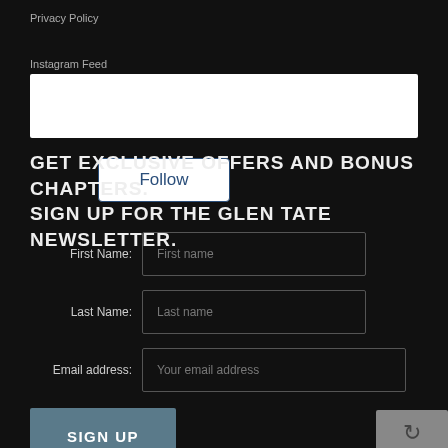Privacy Policy
Instagram Feed
[Figure (other): Instagram Follow button widget in a white box]
GET EXCLUSIVE OFFERS AND BONUS CHAPTERS. SIGN UP FOR THE GLEN TATE NEWSLETTER.
First Name: [First name input field]
Last Name: [Last name input field]
Email address: [Your email address input field]
SIGN UP